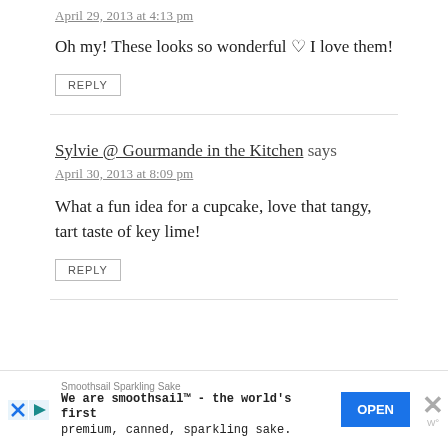April 29, 2013 at 4:13 pm
Oh my! These looks so wonderful ♡ I love them!
REPLY
Sylvie @ Gourmande in the Kitchen says
April 30, 2013 at 8:09 pm
What a fun idea for a cupcake, love that tangy, tart taste of key lime!
REPLY
[Figure (other): Advertisement banner: Smoothsail Sparkling Sake - We are smoothsail™ - the world's first premium, canned, sparkling sake. With OPEN button and close X button.]